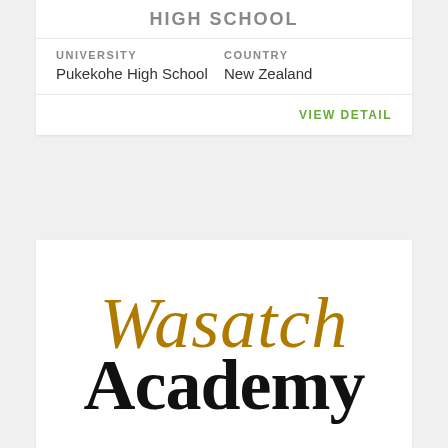[Figure (logo): Pukekohe High School logo text, partially visible at top]
| UNIVERSITY | COUNTRY |
| --- | --- |
| Pukekohe High School | New Zealand |
VIEW DETAIL
[Figure (logo): Wasatch Academy logo with cursive 'Wasatch' in golden/brown color and bold serif 'Academy' in black]